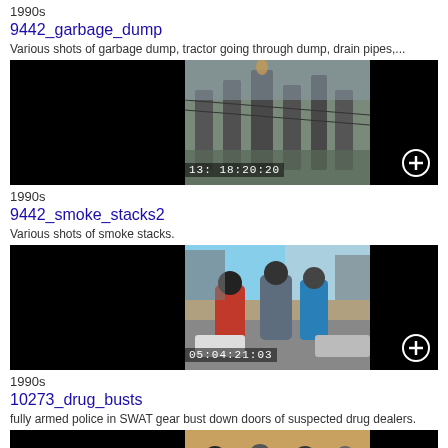1990s
9442_garbage_dump
Various shots of garbage dump, tractor going through dump, drain pipes,...
[Figure (photo): Video thumbnail showing industrial smoke stacks with timestamp 13:18:20:20]
1990s
9442_smoke_stacks2
Various shots of smoke stacks.
[Figure (photo): Video thumbnail showing people on a street with timestamp 05:04:21:03]
1990s
10273_drug_busts
fully armed police in SWAT gear bust down doors of suspected drug dealers.
[Figure (photo): Video thumbnail showing people, partially visible at bottom of page]